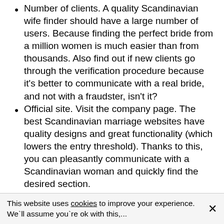Number of clients. A quality Scandinavian wife finder should have a large number of users. Because finding the perfect bride from a million women is much easier than from thousands. Also find out if new clients go through the verification procedure because it's better to communicate with a real bride, and not with a fraudster, isn't it?
Official site. Visit the company page. The best Scandinavian marriage websites have quality designs and great functionality (which lowers the entry threshold). Thanks to this, you can pleasantly communicate with a Scandinavian woman and quickly find the desired section.
Customer opinion. Visit the forums and read reviews from real clients who want to find a wife in Scandinavia. They will tell you a lot of interesting things about the company and its shortcomings. Pay attention to the number of negative reviews. If there are more than 20% of them, choose another matrimonial service.
Licenses and support. The company must be legal and...
This website uses cookies to improve your experience. We`ll assume you`re ok with this,...